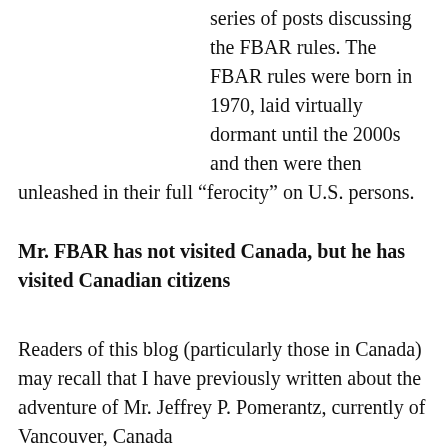series of posts discussing the FBAR rules. The FBAR rules were born in 1970, laid virtually dormant until the 2000s and then were then unleashed in their full “ferocity” on U.S. persons.
Mr. FBAR has not visited Canada, but he has visited Canadian citizens
Readers of this blog (particularly those in Canada) may recall that I have previously written about the adventure of Mr. Jeffrey P. Pomerantz, currently of Vancouver, Canada